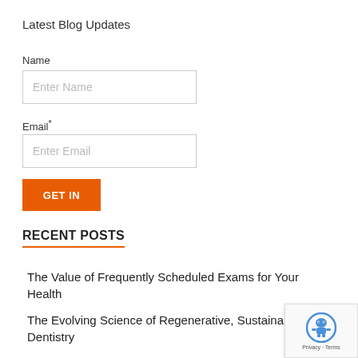Latest Blog Updates
Name
Enter Name
Email*
Enter Email
GET IN
RECENT POSTS
The Value of Frequently Scheduled Exams for Your Health
The Evolving Science of Regenerative, Sustainable Dentistry
[Figure (other): Google reCAPTCHA badge with robot icon and Privacy - Terms text]